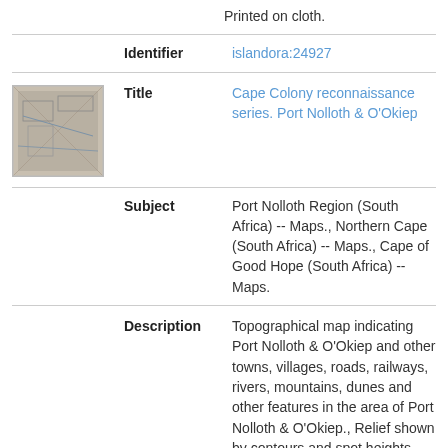Printed on cloth.
Identifier
islandora:24927
[Figure (photo): Small thumbnail image of a historical topographical map of Port Nolloth and O'Okiep area]
Title
Cape Colony reconnaissance series. Port Nolloth & O'Okiep
Subject
Port Nolloth Region (South Africa) -- Maps., Northern Cape (South Africa) -- Maps., Cape of Good Hope (South Africa) -- Maps.
Description
Topographical map indicating Port Nolloth & O'Okiep and other towns, villages, roads, railways, rivers, mountains, dunes and other features in the area of Port Nolloth & O'Okiep., Relief shown by contours and spot heights., "Geographical Section. General Staff."--Cover., Projection not given., Map folds into an outer cover., Includes index to adjoining sheets.